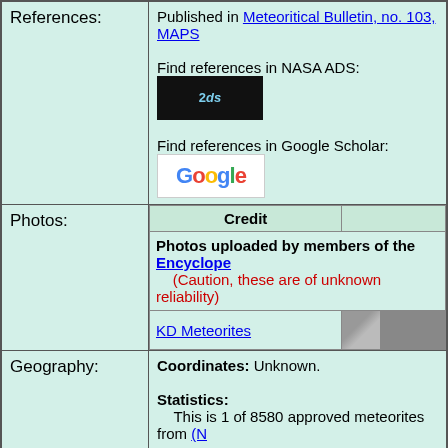| Label | Content |
| --- | --- |
| References: | Published in Meteoritical Bulletin, no. 103, MAPS
Find references in NASA ADS: [NASA ADS logo]
Find references in Google Scholar: [Google Scholar logo] |
| Photos: | Credit | [photo col header]
Photos uploaded by members of the Encyclope... (Caution, these are of unknown reliability)
KD Meteorites | [thumbnail] |
| Geography: | Coordinates: Unknown.

Statistics:
    This is 1 of 8580 approved meteorites from (N... |
| Also see: | [See what others liked button]   This lists the most popular... |
| Revision history: | [Revision history button]   This lists important revisions m... |
Direct link to this page